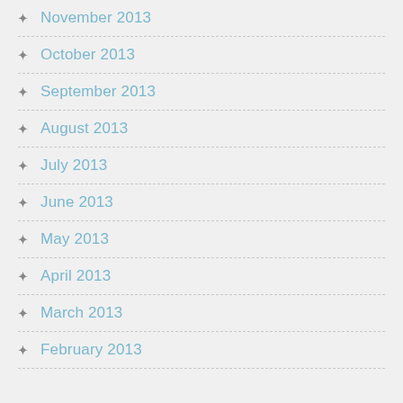November 2013
October 2013
September 2013
August 2013
July 2013
June 2013
May 2013
April 2013
March 2013
February 2013